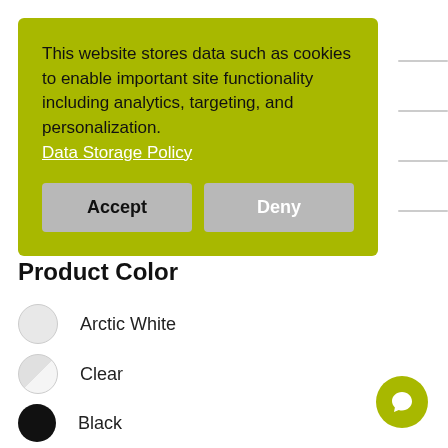This website stores data such as cookies to enable important site functionality including analytics, targeting, and personalization. Data Storage Policy
[Figure (screenshot): Cookie consent banner with green/yellow-green background, Accept and Deny buttons, and a Data Storage Policy link]
Product Color
Arctic White
Clear
Black
Matte Clear
Multicolor